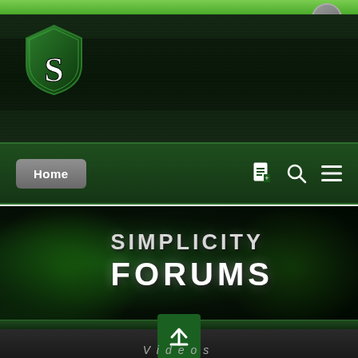[Figure (screenshot): Simplicity Forums website screenshot showing green-themed gaming forum with shield logo, navigation bar with Home button and icons, a banner reading SIMPLICITY FORUMS, and a bottom section showing a video thumbnail with upload arrow icon and 'Videos' label]
SIMPLICITY FORUMS
Home
Videos